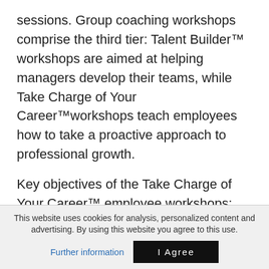sessions. Group coaching workshops comprise the third tier: Talent Builder™ workshops are aimed at helping managers develop their teams, while Take Charge of Your Career™workshops teach employees how to take a proactive approach to professional growth.
Key objectives of the Take Charge of Your Career™ employee workshops:
Learn and apply career development process and develop career plans.
Assess capability: performance, strengths,
This website uses cookies for analysis, personalized content and advertising. By using this website you agree to this use.